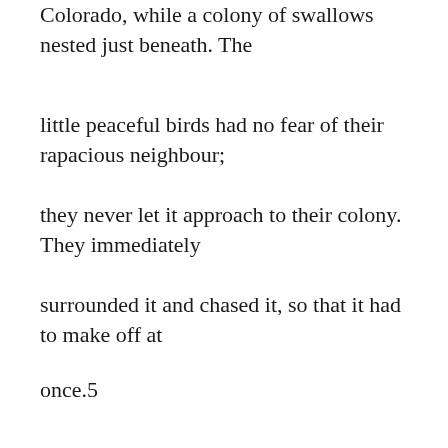Colorado, while a colony of swallows nested just beneath. The
little peaceful birds had no fear of their rapacious neighbour;
they never let it approach to their colony. They immediately
surrounded it and chased it, so that it had to make off at
once.5
Life in societies does not cease when the nesting period is